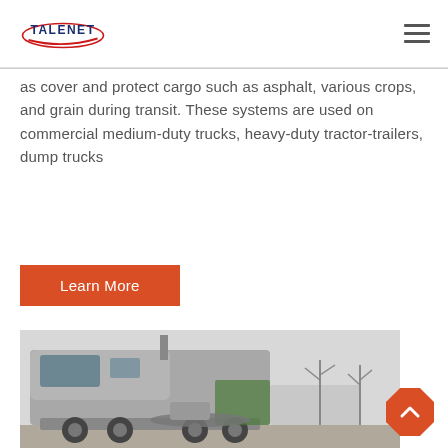TALENET
as cover and protect cargo such as asphalt, various crops, and grain during transit. These systems are used on commercial medium-duty trucks, heavy-duty tractor-trailers, dump trucks
Learn More
[Figure (photo): Silver heavy-duty tractor truck photographed from the rear-side angle in a parking lot with bare trees in the background]